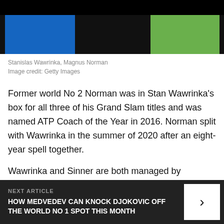[Figure (photo): Two tennis players, one in blue shirt and one in green shirt, cropped torso view against dark background]
Stanislas Wawrinka, Magnus Norman
Image credit: Getty Images
Former world No 2 Norman was in Stan Wawrinka's box for all three of his Grand Slam titles and was named ATP Coach of the Year in 2016. Norman split with Wawrinka in the summer of 2020 after an eight-year spell together.
Wawrinka and Sinner are both managed by StarWing Management.
As Sinner plans out his next move he is currently spending time with coach Simone Vagnozzi, who
NEXT ARTICLE
HOW MEDVEDEV CAN KNOCK DJOKOVIC OFF THE WORLD NO 1 SPOT THIS MONTH